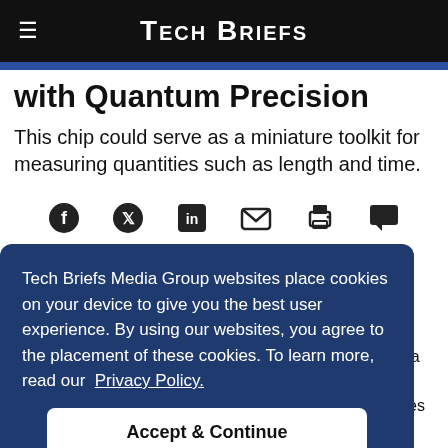TECH BRIEFS
with Quantum Precision
This chip could serve as a miniature toolkit for measuring quantities such as length and time.
[Figure (infographic): Social sharing icons row: Facebook, Twitter, LinkedIn, Email, Print, Comment]
Tech Briefs Media Group websites place cookies on your device to give you the best user experience. By using our websites, you agree to the placement of these cookies. To learn more, read our Privacy Policy.
Accept & Continue